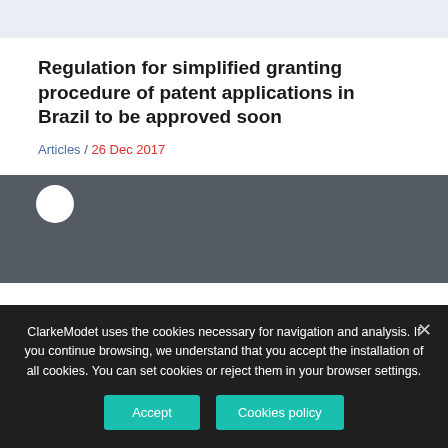Regulation for simplified granting procedure of patent applications in Brazil to be approved soon
Articles / 26 Dec 2017
ClarkeModet uses the cookies necessary for navigation and analysis. If you continue browsing, we understand that you accept the installation of all cookies. You can set cookies or reject them in your browser settings.
Accept
Cookies policy